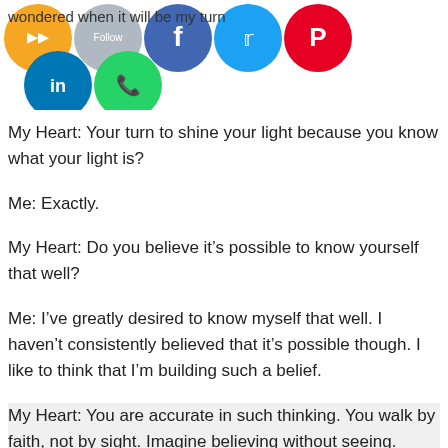[Figure (infographic): Social media sharing icons: RSS, Email/Follow, Facebook, Twitter, Pinterest, LinkedIn, WhatsApp arranged in two overlapping rows with partial text overlay]
wondered when it will be my turn
My Heart: Your turn to shine your light because you know what your light is?
Me: Exactly.
My Heart: Do you believe it’s possible to know yourself that well?
Me: I’ve greatly desired to know myself that well. I haven’t consistently believed that it’s possible though. I like to think that I’m building such a belief.
My Heart: You are accurate in such thinking. You walk by faith, not by sight. Imagine believing without seeing. What a blessing that would be!
Me: Especially since my second year of college, I’ve known that